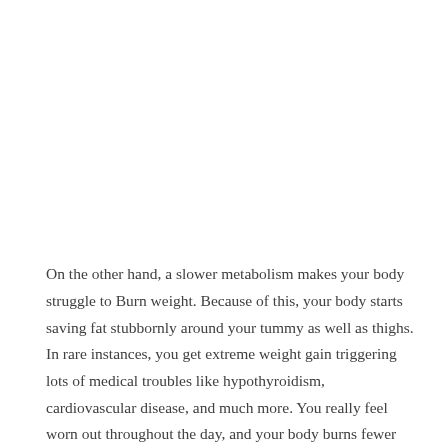On the other hand, a slower metabolism makes your body struggle to Burn weight. Because of this, your body starts saving fat stubbornly around your tummy as well as thighs. In rare instances, you get extreme weight gain triggering lots of medical troubles like hypothyroidism, cardiovascular disease, and much more. You really feel worn out throughout the day, and your body burns fewer